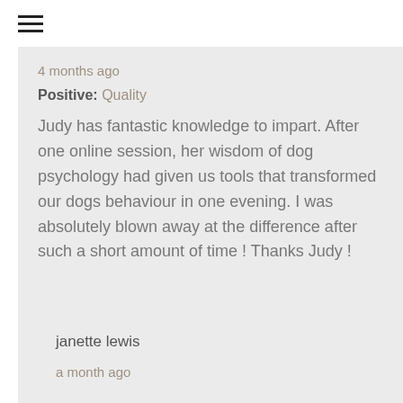≡
4 months ago
Positive: Quality
Judy has fantastic knowledge to impart. After one online session, her wisdom of dog psychology had given us tools that transformed our dogs behaviour in one evening. I was absolutely blown away at the difference after such a short amount of time ! Thanks Judy !
janette lewis
a month ago